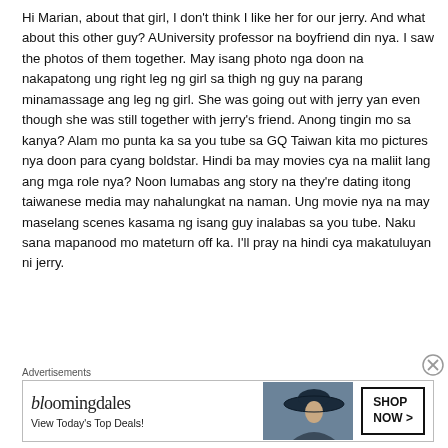Hi Marian, about that girl, I don't think I like her for our jerry. And what about this other guy? AUniversity professor na boyfriend din nya. I saw the photos of them together. May isang photo nga doon na nakapatong ung right leg ng girl sa thigh ng guy na parang minamassage ang leg ng girl. She was going out with jerry yan even though she was still together with jerry's friend. Anong tingin mo sa kanya? Alam mo punta ka sa you tube sa GQ Taiwan kita mo pictures nya doon para cyang boldstar. Hindi ba may movies cya na maliit lang ang mga role nya? Noon lumabas ang story na they're dating itong taiwanese media may nahalungkat na naman. Ung movie nya na may maselang scenes kasama ng isang guy inalabas sa you tube. Naku sana mapanood mo mateturn off ka. I'll pray na hindi cya makatuluyan ni jerry.
Advertisements
[Figure (other): Bloomingdale's advertisement banner with logo, 'View Today's Top Deals!' tagline, woman in wide-brim hat image, and 'SHOP NOW >' button]